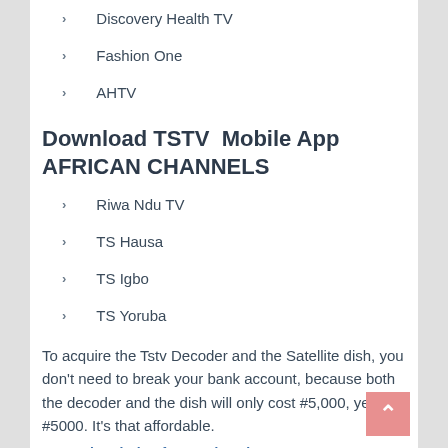Discovery Health TV
Fashion One
AHTV
Download TSTV  Mobile App AFRICAN CHANNELS
Riwa Ndu TV
TS Hausa
TS Igbo
TS Yoruba
To acquire the Tstv Decoder and the Satellite dish, you don't need to break your bank account, because both the decoder and the dish will only cost #5,000, yes #5000. It's that affordable.
Tstv subscription fees and packages .
Complete TSTV Decoder Price, Subscription